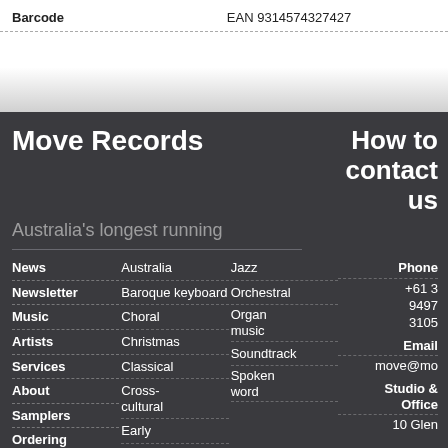| Barcode | EAN 9314574327427 |
| --- | --- |
Move Records
How to contact us
Australia's longest running
News
Newsletter
Music
Artists
Services
About
Samplers
Ordering
Australia
Baroque keyboard
Choral
Christmas
Classical
Cross-cultural
Early
Jazz
Orchestral
Organ music
Soundtrack
Spoken word
Phone
+61 3 9497 3105
Email
move@mo
Studio & Office
10 Glen